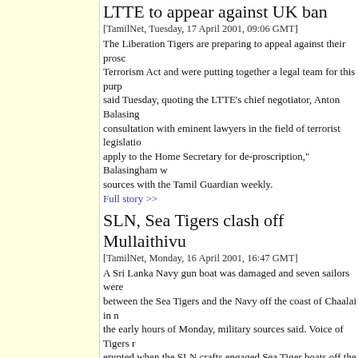LTTE to appear against UK ban
[TamilNet, Tuesday, 17 April 2001, 09:06 GMT]
The Liberation Tigers are preparing to appeal against their proscription under the UK Terrorism Act and were putting together a legal team for this purpose, TamilNet said Tuesday, quoting the LTTE's chief negotiator, Anton Balasingham. "We are in consultation with eminent lawyers in the field of terrorist legislation and we intend to apply to the Home Secretary for de-proscription," Balasingham was quoted as saying to sources with the Tamil Guardian weekly.
Full story >>
SLN, Sea Tigers clash off Mullaithivu
[TamilNet, Monday, 16 April 2001, 16:47 GMT]
A Sri Lanka Navy gun boat was damaged and seven sailors were injured in a clash between the Sea Tigers and the Navy off the coast of Chaalai in northern Sri Lanka in the early hours of Monday, military sources said. Voice of Tigers reported that fighting erupted when the SLN crafts engaged Sea Tiger boats off the coast of Chaalai around 1.45 a.m.
Full story >>
Sri Lanka Navy bombards Trinco village
[TamilNet, Sunday, 15 April 2001, 18:52 GMT]
The Sri Lanka Navy bombarded Soodaikkudah, a coastal hamlet in Trincomalee on Saturday afternoon on Tamil New Year, residents said. Four boats and a house were damaged when the Sri Lanka Navy gunboats shelled the village from the sea, according to them. People fled the village in November last year following earlier shelling by the SLN. They were sheltered as refugees in a school in Sampaltivu, near the coast of Soodaikudah until they resettled in February on an assurance that they would be safe from the Navy.
Full story >>
Released prisoners not LTTE members
[TamilNet, Sunday, 15 April 2001, 18:30 GMT]
A senior member of a Tamil paramilitary group working with the Sri Lanka Army said Sunday that at least four among the ten purported 'Liberation Tigers'